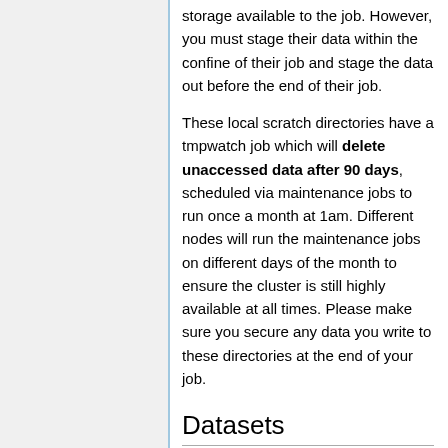storage available to the job. However, you must stage their data within the confine of their job and stage the data out before the end of their job.
These local scratch directories have a tmpwatch job which will delete unaccessed data after 90 days, scheduled via maintenance jobs to run once a month at 1am. Different nodes will run the maintenance jobs on different days of the month to ensure the cluster is still highly available at all times. Please make sure you secure any data you write to these directories at the end of your job.
Datasets
We have read-only dataset storage available at /fs/vulcan-datasets